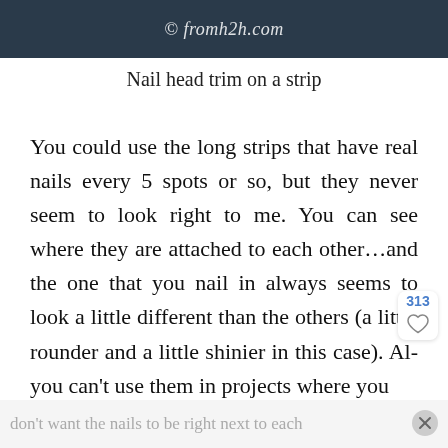[Figure (photo): Dark blue-gray banner image with watermark text '© fromh2h.com' in italic white font]
Nail head trim on a strip
You could use the long strips that have real nails every 5 spots or so, but they never seem to look right to me. You can see where they are attached to each other…and the one that you nail in always seems to look a little different than the others (a little rounder and a little shinier in this case). Al… you can't use them in projects where you
don't want the nails to be right next to each